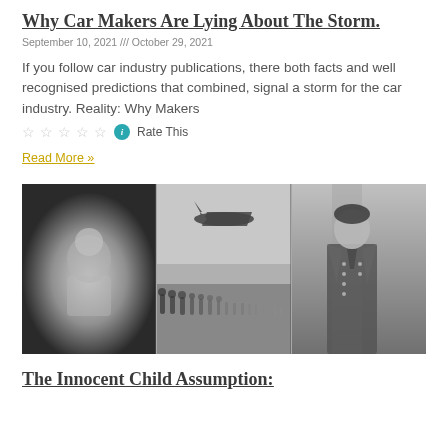Why Car Makers Are Lying About The Storm.
September 10, 2021 /// October 29, 2021
If you follow car industry publications, there both facts and well recognised predictions that combined, signal a storm for the car industry. Reality: Why Makers
☆☆☆☆☆ ⓘ Rate This
Read More »
[Figure (photo): Composite of three black and white historical photographs: a baby/child on the left, a military aircraft and marching soldiers in the center, and a man in military uniform on the right.]
The Innocent Child Assumption: